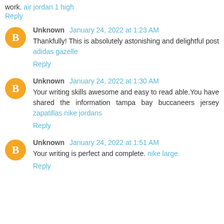work. air jordan 1 high
Reply
Unknown January 24, 2022 at 1:23 AM
Thankfully! This is absolutely astonishing and delightful post adidas gazelle
Reply
Unknown January 24, 2022 at 1:30 AM
Your writing skills awesome and easy to read able.You have shared the information tampa bay buccaneers jersey zapatillas nike jordans
Reply
Unknown January 24, 2022 at 1:51 AM
Your writing is perfect and complete. nike large
Reply